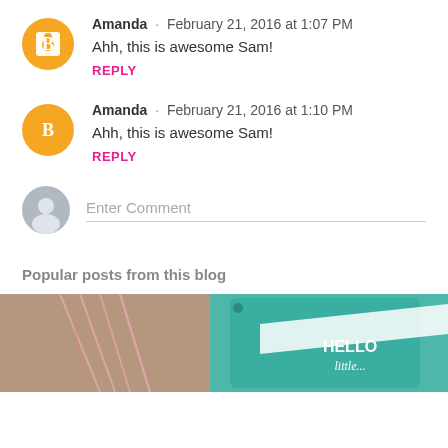Amanda · February 21, 2016 at 1:07 PM
Ahh, this is awesome Sam!
REPLY
Amanda · February 21, 2016 at 1:10 PM
Ahh, this is awesome Sam!
REPLY
Enter Comment
Popular posts from this blog
[Figure (photo): Photo of gift tags with twine and a teal 'HELLO little...' tag]